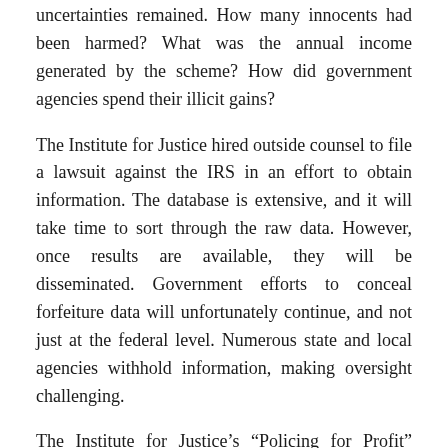uncertainties remained. How many innocents had been harmed? What was the annual income generated by the scheme? How did government agencies spend their illicit gains?
The Institute for Justice hired outside counsel to file a lawsuit against the IRS in an effort to obtain information. The database is extensive, and it will take time to sort through the raw data. However, once results are available, they will be disseminated. Government efforts to conceal forfeiture data will unfortunately continue, and not just at the federal level. Numerous state and local agencies withhold information, making oversight challenging.
The Institute for Justice’s “Policing for Profit” report for 2020 is the largest and most comprehensive forfeiture study ever attempted. Still, gaps remain.